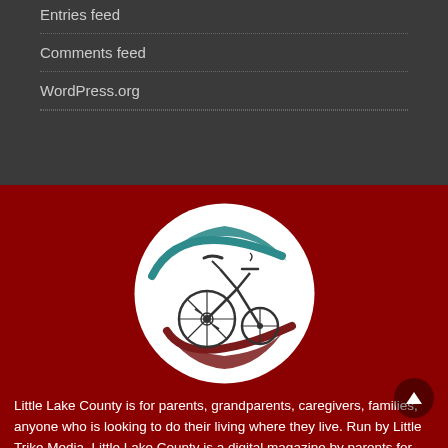Entries feed
Comments feed
WordPress.org
[Figure (logo): Little Lake County / Little Trike Media circular logo featuring an illustration of a tricycle inside a circle with teal and dark red swoosh accents on a white background]
Little Lake County is for parents, grandparents, caregivers, families, anyone who is looking to do their living where they live. Run by Little Trike Media, Little Lake County is a digital magazine by parents for parents about everything Lake County. Whether you're looking for a fun weekend activit with your family, a place to take your toddler when it rain or a preschool to enroll your child in, Lake County parents can turn to us for the answers.